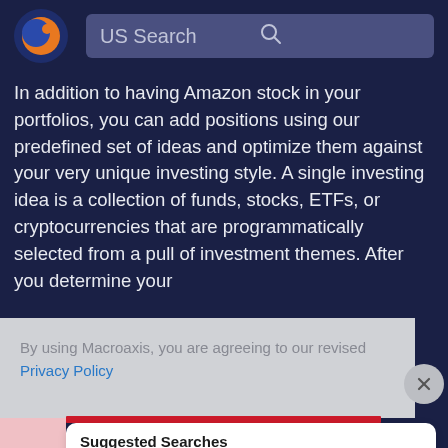[Figure (logo): Macroaxis circular logo with orange and blue design]
US Search
In addition to having Amazon stock in your portfolios, you can add positions using our predefined set of ideas and optimize them against your very unique investing style. A single investing idea is a collection of funds, stocks, ETFs, or cryptocurrencies that are programmatically selected from a pull of investment themes. After you determine your [an] [on the] [tility.] [m] [cient]
By using Macroaxis, you are agreeing to our revised Privacy Policy
Suggested Searches
Amazon All Departments